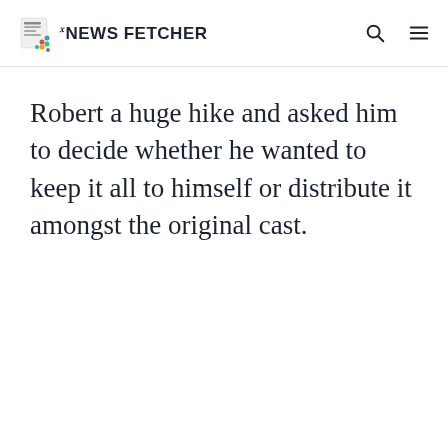THE NEWS FETCHER
Robert a huge hike and asked him to decide whether he wanted to keep it all to himself or distribute it amongst the original cast.